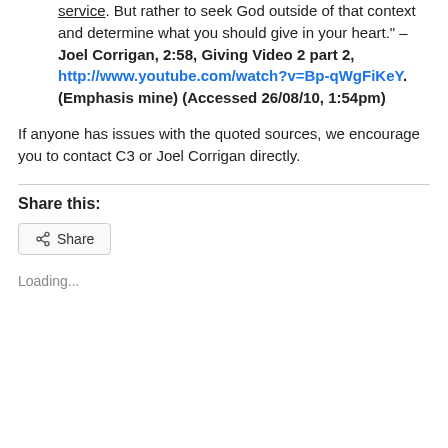service. But rather to seek God outside of that context and determine what you should give in your heart." – Joel Corrigan, 2:58, Giving Video 2 part 2, http://www.youtube.com/watch?v=Bp-qWgFiKeY. (Emphasis mine) (Accessed 26/08/10, 1:54pm)
If anyone has issues with the quoted sources, we encourage you to contact C3 or Joel Corrigan directly.
Share this:
Share
Loading...